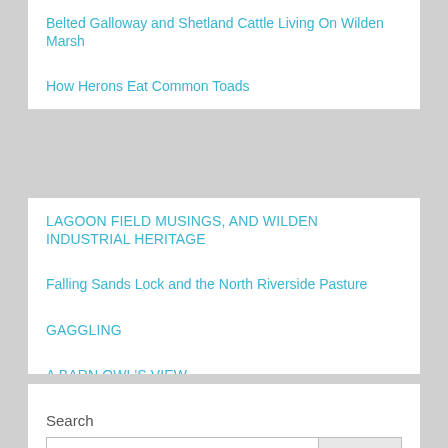Belted Galloway and Shetland Cattle Living On Wilden Marsh
How Herons Eat Common Toads
LAGOON FIELD MUSINGS, AND WILDEN INDUSTRIAL HERITAGE
Falling Sands Lock and the North Riverside Pasture
GAGGLING
A BARN OWL'S VIEW
Herons with their chicks at the heronry.
Search